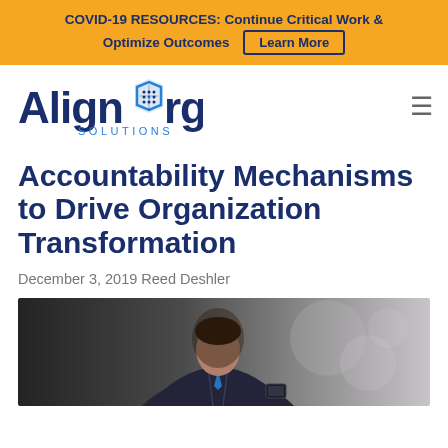COVID-19 RESOURCES: Continue Critical Work & Optimize Outcomes  Learn More
[Figure (logo): AlignOrg Solutions logo with hexagon icon]
Accountability Mechanisms to Drive Organization Transformation
December 3, 2019 Reed Deshler
[Figure (photo): Person in business suit holding a device, blurred background]